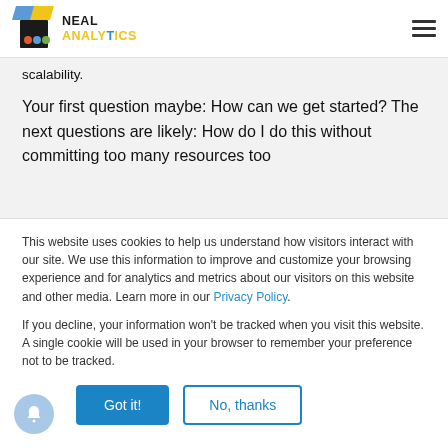Neal Analytics
scalability.
Your first question maybe: How can we get started? The next questions are likely: How do I do this without committing too many resources too
This website uses cookies to help us understand how visitors interact with our site. We use this information to improve and customize your browsing experience and for analytics and metrics about our visitors on this website and other media. Learn more in our Privacy Policy.
If you decline, your information won't be tracked when you visit this website. A single cookie will be used in your browser to remember your preference not to be tracked.